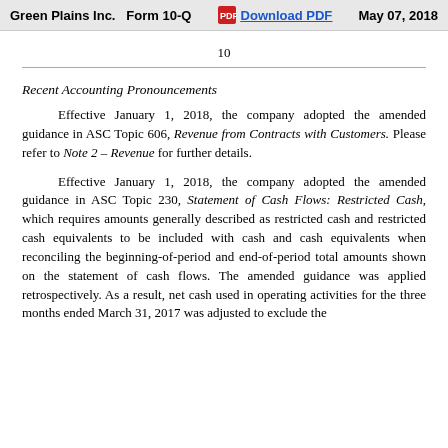Green Plains Inc.   Form 10-Q   Download PDF   May 07, 2018
10
Recent Accounting Pronouncements
Effective January 1, 2018, the company adopted the amended guidance in ASC Topic 606, Revenue from Contracts with Customers. Please refer to Note 2 – Revenue for further details.
Effective January 1, 2018, the company adopted the amended guidance in ASC Topic 230, Statement of Cash Flows: Restricted Cash, which requires amounts generally described as restricted cash and restricted cash equivalents to be included with cash and cash equivalents when reconciling the beginning-of-period and end-of-period total amounts shown on the statement of cash flows. The amended guidance was applied retrospectively. As a result, net cash used in operating activities for the three months ended March 31, 2017 was adjusted to exclude the